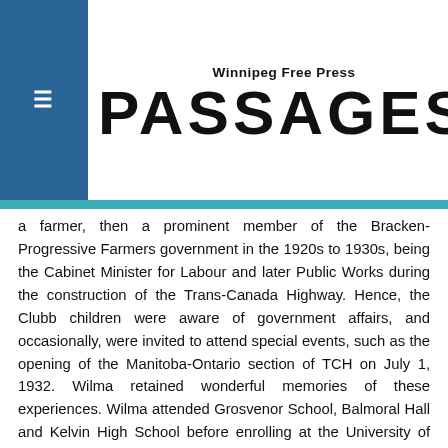Winnipeg Free Press PASSAGES
a farmer, then a prominent member of the Bracken-Progressive Farmers government in the 1920s to 1930s, being the Cabinet Minister for Labour and later Public Works during the construction of the Trans-Canada Highway. Hence, the Clubb children were aware of government affairs, and occasionally, were invited to attend special events, such as the opening of the Manitoba-Ontario section of TCH on July 1, 1932. Wilma retained wonderful memories of these experiences. Wilma attended Grosvenor School, Balmoral Hall and Kelvin High School before enrolling at the University of Manitoba where she graduated in 1939 with a B.Sc. in Home Economics. Throughout her school days, Wilma was a keen participant in sports, especially in basketball, track, and hurdle racing. Later in life, she enjoyed walking and exploring through her neighbourhoods. The Hon. W.R. Clubb and Dr. Herb Christie